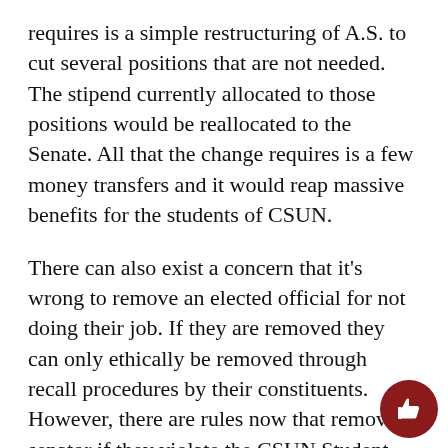requires is a simple restructuring of A.S. to cut several positions that are not needed. The stipend currently allocated to those positions would be reallocated to the Senate. All that the change requires is a few money transfers and it would reap massive benefits for the students of CSUN.
There can also exist a concern that it's wrong to remove an elected official for not doing their job. If they are removed they can only ethically be removed through recall procedures by their constituents. However, there are rules now that remove a senator if they violate the CSUN Student Conduct Code, have three unexcused absences at Senate meetings or fall below a certain GPA. The real answer to that concern is that we are not asking for the senator to be removed, simply to stop getting paid if they do not devote enough time to their constituents.
[Figure (illustration): Dark red circular button with a thumbs-up icon in white, positioned at the bottom right corner of the page.]